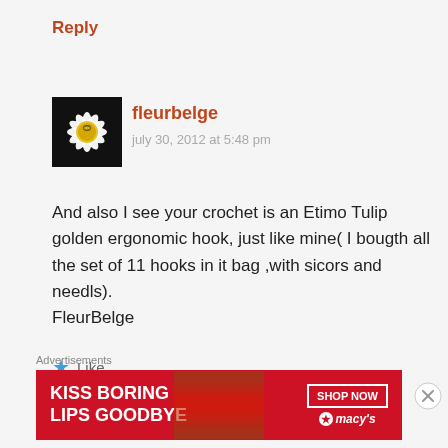Reply
fleurbelge
july 30, 2012 at 5:48 pm
[Figure (photo): Avatar photo of a white daisy flower with a bee on it against a dark background]
And also I see your crochet is an Etimo Tulip golden ergonomic hook, just like mine( I bougth all the set of 11 hooks in it bag ,with sicors and needls).
FleurBelge
Like
Advertisements
[Figure (advertisement): Macy's advertisement banner with red background saying KISS BORING LIPS GOODBYE with SHOP NOW button]